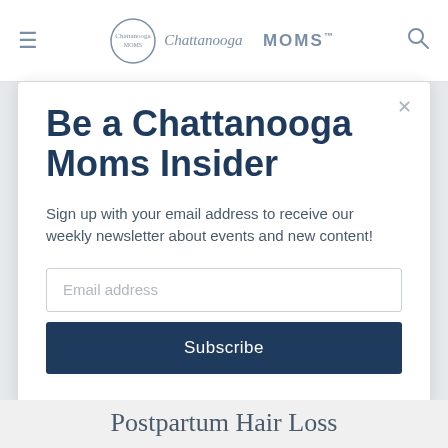Chattanooga MOMS
Be a Chattanooga Moms Insider
Sign up with your email address to receive our weekly newsletter about events and new content!
Email address
Subscribe
Postpartum Hair Loss